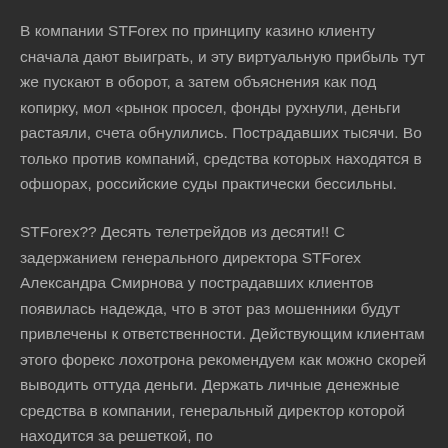В компании STForex по принципу казино клиенту сначала дают выиграть, и эту виртуальную прибыль тут же пускают в оборот, а затем объяснения как под копирку, мол «рынок просел, фонды рухнули, деньги растаяли, счета обнулились. Пострадавших тысячи. Во только против компаний, средства которых находятся в офшорах, российские суды практически бессильны.
STForex?? Десять телетрейдов из десяти!! С задержанием генерального директора STForex Александра Смирнова у пострадавших клиентов появилась надежда, что в этот раз мошенники будут привлечены к ответственности. Действующим клиентам этого форекс лохотрона рекомендуем как можно скорей выводить оттуда деньги. Держать личные денежные средства в компании, генеральный директор которой находится за решеткой, по